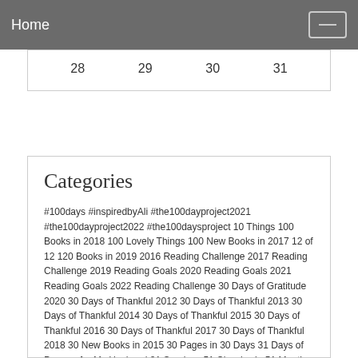Home
| 28 | 29 | 30 | 31 |
Categories
#100days #inspiredbyAli #the100dayproject2021 #the100dayproject2022 #the100daysproject 10 Things 100 Books in 2018 100 Lovely Things 100 New Books in 2017 12 of 12 120 Books in 2019 2016 Reading Challenge 2017 Reading Challenge 2019 Reading Goals 2020 Reading Goals 2021 Reading Goals 2022 Reading Challenge 30 Days of Gratitude 2020 30 Days of Thankful 2012 30 Days of Thankful 2013 30 Days of Thankful 2014 30 Days of Thankful 2015 30 Days of Thankful 2016 30 Days of Thankful 2017 30 Days of Thankful 2018 30 New Books in 2015 30 Pages in 30 Days 31 Days of Prayers for My Husband 31 Sunrises 51 Classics in 51 Months 52 Gratitudes 52 Gratitudes 2014 52 Gratitudes 2017 52 Gratitudes 2019 52 Gratitudes in 2015 52 Lists 52 New Books in 2016 52 Scraplifts 52 Weeks of Giving 52 Weeks of Giving 2019 52 Weeks of Giving 2021 a 1000 days 100